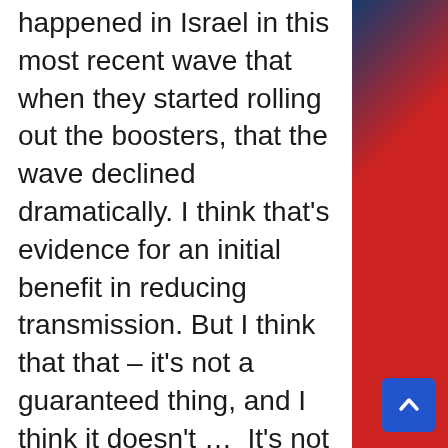happened in Israel in this most recent wave that when they started rolling out the boosters, that the wave declined dramatically. I think that's evidence for an initial benefit in reducing transmission. But I think that that – it's not a guaranteed thing, and I think it doesn't …  It's not universal in everybody who gets vaccinated, and it doesn't last all that long. It also – that benefit wanes over four to six months.
Read More From The PatriotAmerican
So there is some rationale for using th...